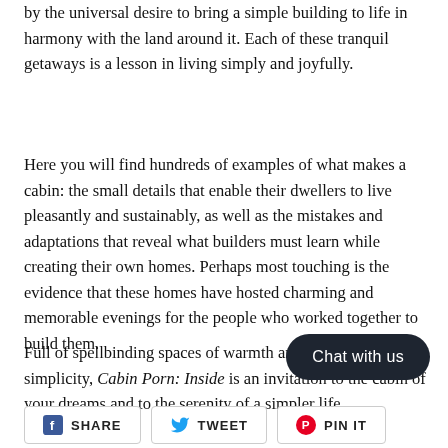by the universal desire to bring a simple building to life in harmony with the land around it. Each of these tranquil getaways is a lesson in living simply and joyfully.
Here you will find hundreds of examples of what makes a cabin: the small details that enable their dwellers to live pleasantly and sustainably, as well as the mistakes and adaptations that reveal what builders must learn while creating their own homes. Perhaps most touching is the evidence that these homes have hosted charming and memorable evenings for the people who worked together to build them.
Full of spellbinding spaces of warmth and ingenious simplicity, Cabin Porn: Inside is an invitation to the cabin of your dreams and to the serenity of a simpler life.
Chat with us
SHARE   TWEET   PIN IT